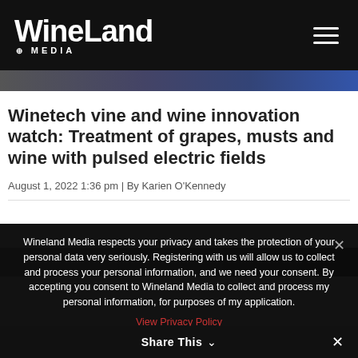WineLand MEDIA
Winetech vine and wine innovation watch: Treatment of grapes, musts and wine with pulsed electric fields
August 1, 2022 1:36 pm | By Karien O'Kennedy
Wineland Media respects your privacy and takes the protection of your personal data very seriously. Registering with us will allow us to collect and process your personal information, and we need your consent. By accepting you consent to Wineland Media to collect and process my personal information, for purposes of my application.
View Privacy Policy
Share This